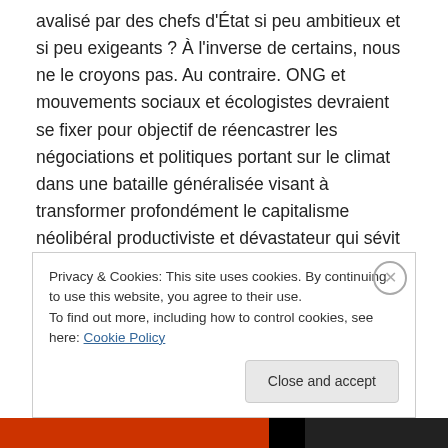avalisé par des chefs d'État si peu ambitieux et si peu exigeants ? À l'inverse de certains, nous ne le croyons pas. Au contraire. ONG et mouvements sociaux et écologistes devraient se fixer pour objectif de réencastrer les négociations et politiques portant sur le climat dans une bataille généralisée visant à transformer profondément le capitalisme néolibéral productiviste et dévastateur qui sévit partout sur la planète. Le fait qu'il n'y ait pas grand chose de tangible, pas grand chose à gagner, et rien qui ne soit à la hauteur des enjeux, dans les négociations, rebat les cartes. La majorité des
Privacy & Cookies: This site uses cookies. By continuing to use this website, you agree to their use.
To find out more, including how to control cookies, see here: Cookie Policy
Close and accept